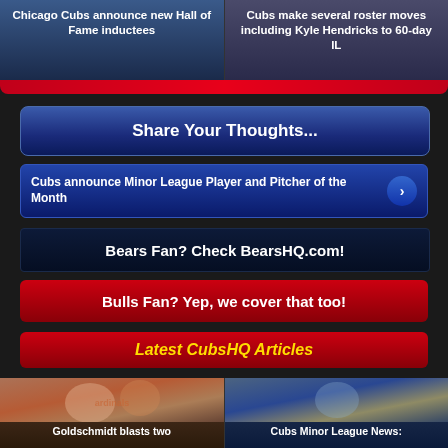[Figure (photo): Chicago Cubs Hall of Fame news thumbnail photo]
Chicago Cubs announce new Hall of Fame inductees
[Figure (photo): Cubs roster moves news thumbnail photo]
Cubs make several roster moves including Kyle Hendricks to 60-day IL
Share Your Thoughts...
Cubs announce Minor League Player and Pitcher of the Month
Bears Fan? Check BearsHQ.com!
Bulls Fan? Yep, we cover that too!
Latest CubsHQ Articles
[Figure (photo): Goldschmidt Cardinals celebration photo]
Goldschmidt blasts two
[Figure (photo): Cubs pitcher on mound photo]
Cubs Minor League News: